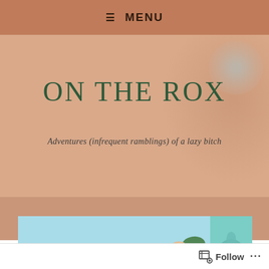≡ MENU
ON THE ROX
Adventures (infrequent ramblings) of a lazy bitch
[Figure (photo): Beach scene with colorful surfboards leaning against a rack on the left, a blonde woman in a white bikini posing on the right, a teal decorative panel with floral motifs on the far right, and a beach building and palm trees in the background. A watermark reads 'Rox Modelli'.]
Follow  ···